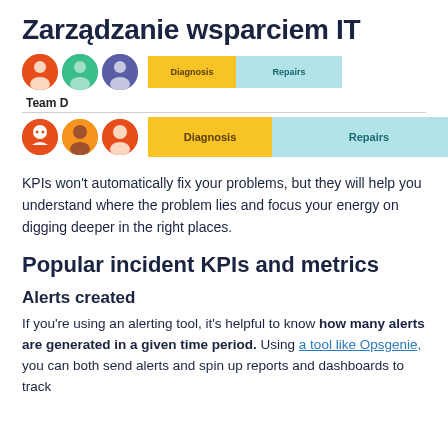Zarządzanie wsparciem IT
[Figure (infographic): Stacked bar chart showing Team D with three avatar icons and two bars: Diagnosis (yellow) and Repairs (light blue). Partial top row shows red, green, purple avatars with smaller bars above. Team D row shows three orange avatars with larger Diagnosis and Repairs bars.]
KPIs won't automatically fix your problems, but they will help you understand where the problem lies and focus your energy on digging deeper in the right places.
Popular incident KPIs and metrics
Alerts created
If you're using an alerting tool, it's helpful to know how many alerts are generated in a given time period. Using a tool like Opsgenie, you can both send alerts and spin up reports and dashboards to track